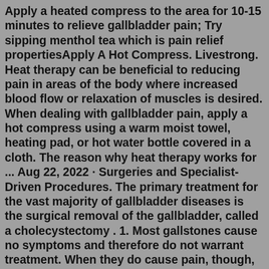Apply a heated compress to the area for 10-15 minutes to relieve gallbladder pain; Try sipping menthol tea which is pain relief propertiesApply A Hot Compress. Livestrong. Heat therapy can be beneficial to reducing pain in areas of the body where increased blood flow or relaxation of muscles is desired. When dealing with gallbladder pain, apply a hot compress using a warm moist towel, heating pad, or hot water bottle covered in a cloth. The reason why heat therapy works for ... Aug 22, 2022 · Surgeries and Specialist-Driven Procedures. The primary treatment for the vast majority of gallbladder diseases is the surgical removal of the gallbladder, called a cholecystectomy . 1. Most gallstones cause no symptoms and therefore do not warrant treatment. When they do cause pain, though, surgery is generally needed. 2. Surgical treatments for a gallbladder attack are: Cholecystectomy. This surgery removes the entire gallbladder. It prevents you from having gallstones or a gallbladder attack again. You'll